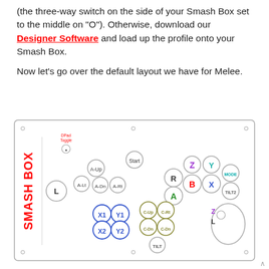(the three-way switch on the side of your Smash Box set to the middle on "O"). Otherwise, download our Designer Software and load up the profile onto your Smash Box.
Now let's go over the default layout we have for Melee.
[Figure (illustration): Smash Box controller layout diagram showing the default Melee button layout. Left side has the Smash Box logo and L button. Center-left has A-Up, A-Lt, A-Dn, A-Rt analog direction buttons. Center has Start button and DPad Toggle label. Left thumb section has X1, Y1, X2, Y2 buttons and C-Up, C-Rt, C-Dn, C-Lt, and TILT buttons. Right side has R, Z (purple), Y (teal), B (red), X (blue), A (green), MODE, TILT2 buttons. Far right has a Z/L analog stick outline.]